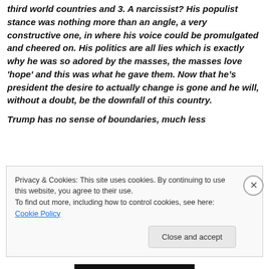third world countries and 3. A narcissist? His populist stance was nothing more than an angle, a very constructive one, in where his voice could be promulgated and cheered on. His politics are all lies which is exactly why he was so adored by the masses, the masses love 'hope' and this was what he gave them. Now that he's president the desire to actually change is gone and he will, without a doubt, be the downfall of this country.

Trump has no sense of boundaries, much less
Privacy & Cookies: This site uses cookies. By continuing to use this website, you agree to their use.
To find out more, including how to control cookies, see here: Cookie Policy